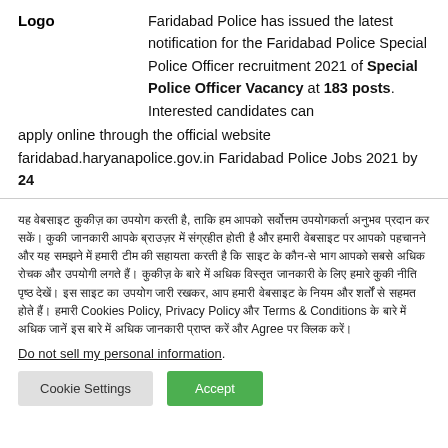Logo   Faridabad Police has issued the latest notification for the Faridabad Police Special Police Officer recruitment 2021 of Special Police Officer Vacancy at 183 posts. Interested candidates can apply online through the official website faridabad.haryanapolice.gov.in Faridabad Police Jobs 2021 by 24
(Hindi text about cookies policy, Privacy Policy and Terms & Conditions with Agree button)
Do not sell my personal information.
Cookie Settings   Accept